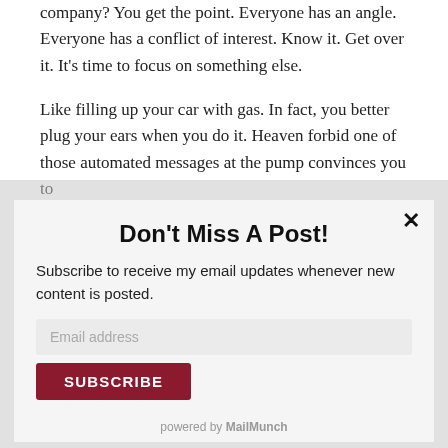company? You get the point. Everyone has an angle. Everyone has a conflict of interest. Know it. Get over it. It's time to focus on something else.
Like filling up your car with gas. In fact, you better plug your ears when you do it. Heaven forbid one of those automated messages at the pump convinces you to
Don't Miss A Post!
Subscribe to receive my email updates whenever new content is posted.
Email address
SUBSCRIBE
powered by MailMunch